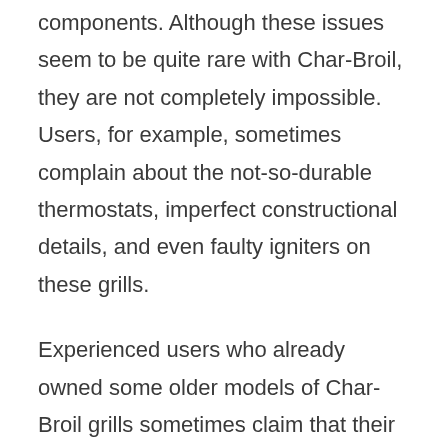components. Although these issues seem to be quite rare with Char-Broil, they are not completely impossible. Users, for example, sometimes complain about the not-so-durable thermostats, imperfect constructional details, and even faulty igniters on these grills.
Experienced users who already owned some older models of Char-Broil grills sometimes claim that their quality used to be better. One possible explanation for this is that the company recently outsourced the production of its appliances to factories in third countries, so they are no longer made in the US.